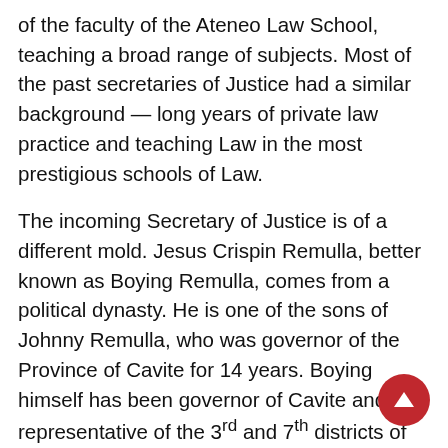of the faculty of the Ateneo Law School, teaching a broad range of subjects. Most of the past secretaries of Justice had a similar background — long years of private law practice and teaching Law in the most prestigious schools of Law.
The incoming Secretary of Justice is of a different mold. Jesus Crispin Remulla, better known as Boying Remulla, comes from a political dynasty. He is one of the sons of Johnny Remulla, who was governor of the Province of Cavite for 14 years. Boying himself has been governor of Cavite and representative of the 3rd and 7th districts of the province.
He was one of the most vocal congressmen opposed to the renewal of the franchise of ABS-CBN. He and 60 other congressmen accused the